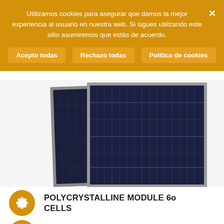Utilizamos cookies para asegurar que damos la mejor experiencia al usuario en nuestra web. Si sigues utilizando este sitio asumiremos que estás de acuerdo.
Acepto todas | Rechazo todas | Política de cookies
[Figure (photo): Two polycrystalline solar panels leaning against each other showing dark blue cell grid pattern with silver frame]
POLYCRYSTALLINE MODULE 60 CELLS
High efficiency up to 17.59%